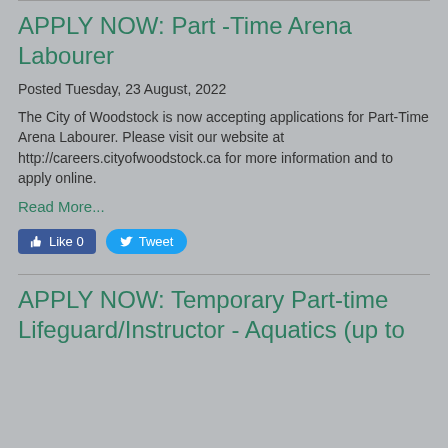APPLY NOW: Part -Time Arena Labourer
Posted Tuesday, 23 August, 2022
The City of Woodstock is now accepting applications for Part-Time Arena Labourer.  Please visit our website at http://careers.cityofwoodstock.ca for more information and to apply online.
Read More...
[Figure (other): Facebook Like button showing 0 likes and Twitter Tweet button]
APPLY NOW: Temporary Part-time Lifeguard/Instructor - Aquatics (up to